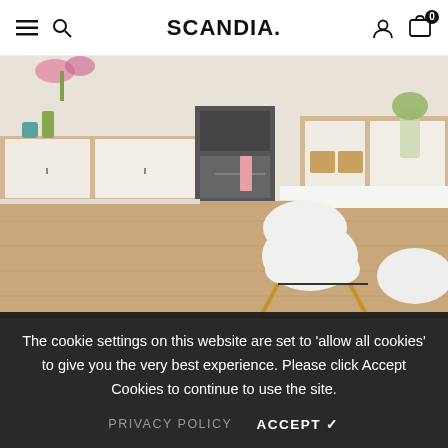SCANDIA.
[Figure (photo): Bright Scandinavian-style kitchen interior with white cabinets, a range cooker, wood-framed open shelving with wicker baskets, a vase of flowers, a white dining table, and white Eames-style chairs with wooden legs on a light wood floor.]
The cookie settings on this website are set to 'allow all cookies' to give you the very best experience. Please click Accept Cookies to continue to use the site.
PRIVACY POLICY    ACCEPT ✓